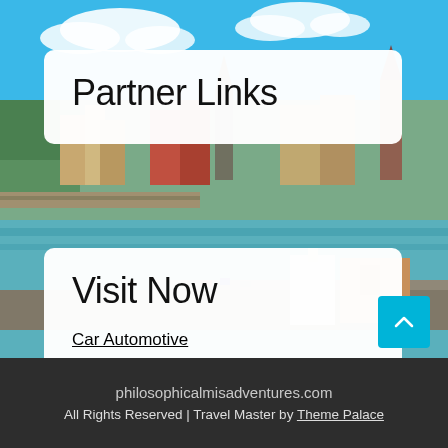[Figure (photo): Aerial/elevated view of Stockholm waterfront cityscape with blue sky, water channel, bridges, historic buildings and church spires]
Partner Links
Visit Now
Car Automotive
philosophicalmisadventures.com
All Rights Reserved | Travel Master by Theme Palace